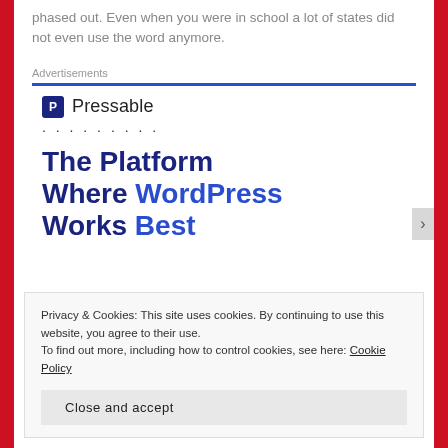phased out. Even when you were in school a lot of states did not even use the word anymore.
Advertisements
[Figure (logo): Pressable logo with blue square P icon and dotted line beneath]
The Platform Where WordPress Works Best
Privacy & Cookies: This site uses cookies. By continuing to use this website, you agree to their use.
To find out more, including how to control cookies, see here: Cookie Policy
Close and accept